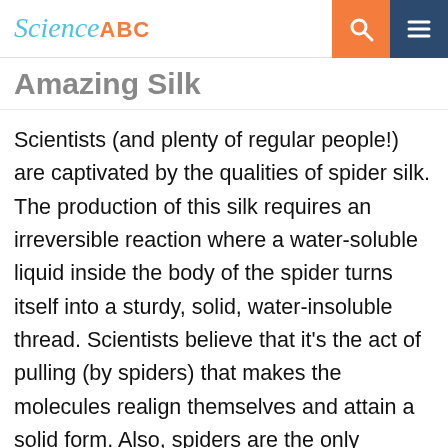Science ABC
Amazing Silk
Scientists (and plenty of regular people!) are captivated by the qualities of spider silk. The production of this silk requires an irreversible reaction where a water-soluble liquid inside the body of the spider turns itself into a sturdy, solid, water-insoluble thread. Scientists believe that it’s the act of pulling (by spiders) that makes the molecules realign themselves and attain a solid form. Also, spiders are the only creatures that use silk produced by their bodies in a variety of ways, including catching prey, mating, protecting themselves and their